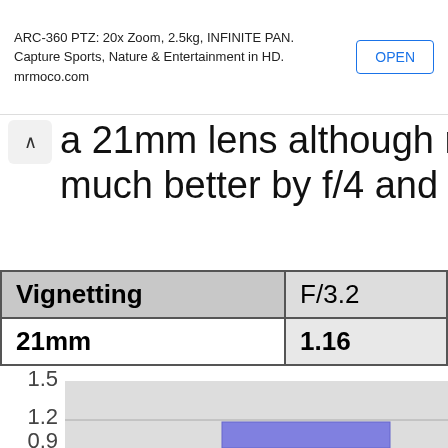ARC-360 PTZ: 20x Zoom, 2.5kg, INFINITE PAN. Capture Sports, Nature & Entertainment in HD. mrmoco.com | OPEN
a 21mm lens although not much better by f/4 and no long
| Vignetting | F/3.2 |
| --- | --- |
| 21mm | 1.16 |
[Figure (bar-chart): Partial bar chart showing vignetting value around 1.16 at F/3.2, y-axis visible with labels 1.5, 1.2, 0.9, bar shown in blue-purple color]